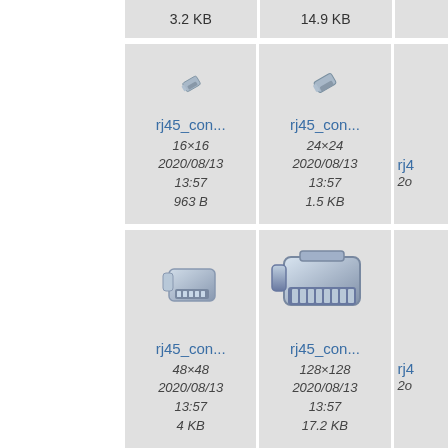3.2 KB
14.9 KB
[Figure (screenshot): File browser grid showing rj45 connector icon files at various sizes. Row 1: rj45_con... 16×16 2020/08/13 13:57 963 B; rj45_con... 24×24 2020/08/13 13:57 1.5 KB. Row 2: rj45_con... 48×48 2020/08/13 13:57 4 KB; rj45_con... 128×128 2020/08/13 13:57 17.2 KB]
rj45_con...
16×16
2020/08/13
13:57
963 B
rj45_con...
24×24
2020/08/13
13:57
1.5 KB
rj45_con...
48×48
2020/08/13
13:57
4 KB
rj45_con...
128×128
2020/08/13
13:57
17.2 KB